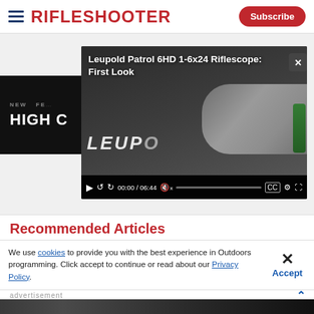RIFLESHOOTER
[Figure (screenshot): Video player showing Leupold Patrol 6HD 1-6x24 Riflescope: First Look video, with controls bar showing 00:00 / 06:44]
Recommended Articles
We use cookies to provide you with the best experience in Outdoors programming. Click accept to continue or read about our Privacy Policy.
[Figure (photo): Savage advertisement banner: THE BEST STORIES START WITH SAVAGE]